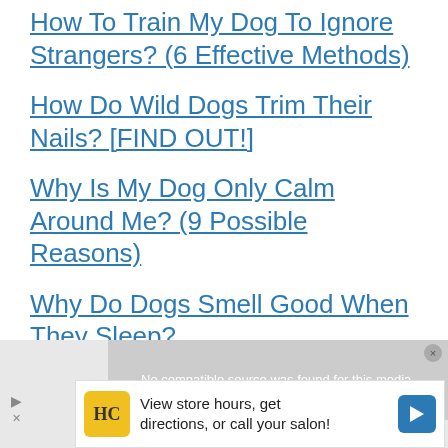How To Train My Dog To Ignore Strangers? (6 Effective Methods)
How Do Wild Dogs Trim Their Nails? [FIND OUT!]
Why Is My Dog Only Calm Around Me? (9 Possible Reasons)
Why Do Dogs Smell Good When They Sleep?
[Figure (screenshot): Video player overlay showing 'No compatible source was found for this media.' with a close button]
[Figure (screenshot): Advertisement banner: HC logo, 'View store hours, get directions, or call your salon!' text, blue arrow icon, play/close buttons on left]